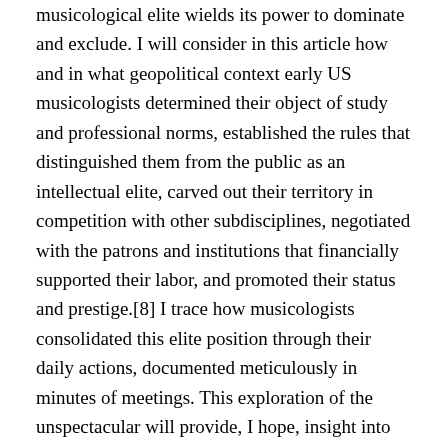musicological elite wields its power to dominate and exclude. I will consider in this article how and in what geopolitical context early US musicologists determined their object of study and professional norms, established the rules that distinguished them from the public as an intellectual elite, carved out their territory in competition with other subdisciplines, negotiated with the patrons and institutions that financially supported their labor, and promoted their status and prestige.[8] I trace how musicologists consolidated this elite position through their daily actions, documented meticulously in minutes of meetings. This exploration of the unspectacular will provide, I hope, insight into the often-overlooked but crucial difference between bureaucratic decision making (motions!) and conceptual thinking (historiographic or aesthetic choice) in the formation of scholarly disciplines.